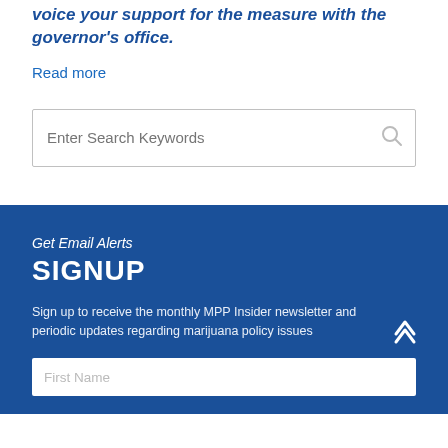voice your support for the measure with the governor's office.
Read more
[Figure (other): Search input box with placeholder text 'Enter Search Keywords' and a magnifying glass icon on the right]
Get Email Alerts
SIGNUP
Sign up to receive the monthly MPP Insider newsletter and periodic updates regarding marijuana policy issues
[Figure (other): First Name input field placeholder]
[Figure (other): Up arrow / back to top chevron icon]